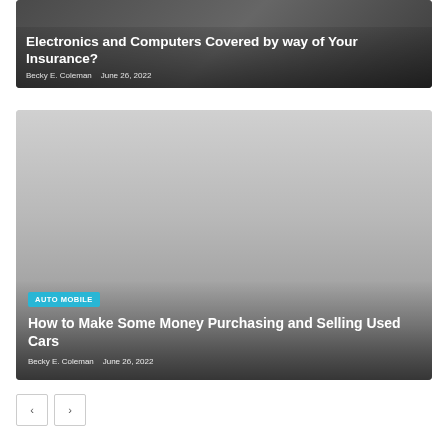[Figure (photo): Article card image with dark background showing electronics/keyboard/smartphone, with overlaid title text about Electronics and Computers covered by Insurance]
Electronics and Computers Covered by way of Your Insurance?
Becky E. Coleman   June 26, 2022
[Figure (photo): Article card image with gray gradient background for auto mobile article about buying and selling used cars]
How to Make Some Money Purchasing and Selling Used Cars
Becky E. Coleman   June 26, 2022